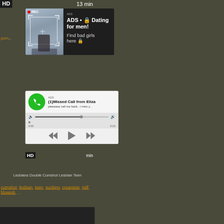[Figure (screenshot): Adult website screenshot with two advertisement popups overlaid. First popup shows a selfie photo with REC badge and dating ad text. Second popup shows a fake missed call audio player notification from 'Eliza'. Background shows adult content website with orange tag links.]
HD
13 min
ADS • 🔒 Dating for men! Find bad girls here 🔒
ADS
(1)Missed Call from Eliza
pleeease call me back.. I miss y...
0:00
3:23
HD
min
Lesbians Double Cumshot Lesbian Teen
cumshot, lesbian, teen, sucking, creampie, milf, blowjob, ...